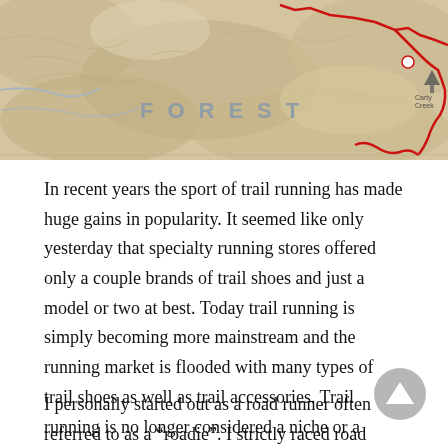[Figure (map): Topographic trail map showing terrain with a red route line marked on it, with text 'FOREST' visible and trail markers]
In recent years the sport of trail running has made huge gains in popularity. It seemed like only yesterday that specialty running stores offered only a couple brands of trail shoes and just a model or two at best. Today trail running is simply becoming more mainstream and the running market is flooded with many types of trail shoes as well as trail accessories. Trail running is no longer considered a niche or a fringe arm of running, as more and more runners seek to the solitude of the woods.
I personally started out as a road runner often referred to as a “roadie”. I strictly raced road distances from 5k to road marathons